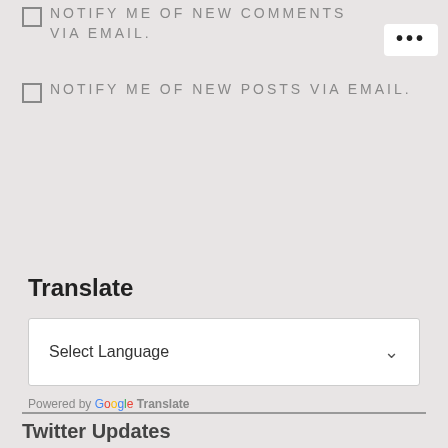NOTIFY ME OF NEW COMMENTS VIA EMAIL.
NOTIFY ME OF NEW POSTS VIA EMAIL.
Translate
[Figure (other): Select Language dropdown widget with chevron arrow]
Powered by Google Translate
Twitter Updates